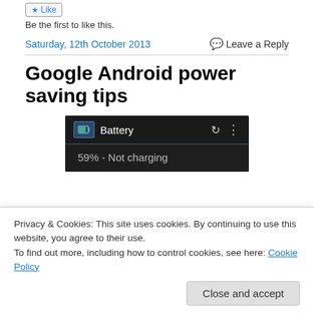Be the first to like this.
Saturday, 12th October 2013
Leave a Reply
Google Android power saving tips
[Figure (screenshot): Android Battery settings screen showing '59% - Not charging']
Privacy & Cookies: This site uses cookies. By continuing to use this website, you agree to their use.
To find out more, including how to control cookies, see here: Cookie Policy
Close and accept
manage a full working day from their smartphone